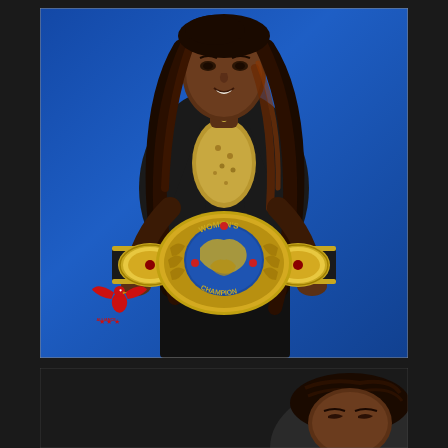[Figure (photo): A woman wearing a black blazer over a gold/leopard print top, holding a professional wrestling Women's Champion championship belt with gold and blue accents. She is smiling and standing in front of a blue backdrop. A red eagle logo with 'ALLIANCE' text and stars is visible in the lower left of the photo.]
[Figure (photo): Partial view of a second woman with braided hair, eyes closed or looking down, dark background, photo is cropped at the bottom of the page.]